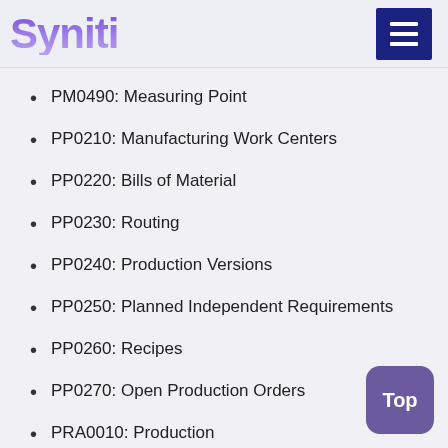Syniti
PM0490: Measuring Point
PP0210: Manufacturing Work Centers
PP0220: Bills of Material
PP0230: Routing
PP0240: Production Versions
PP0250: Planned Independent Requirements
PP0260: Recipes
PP0270: Open Production Orders
PRA0010: Production
PRA0020: Ownership